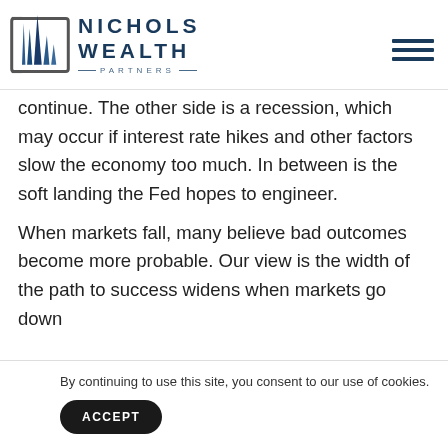Nichols Wealth Partners
continue. The other side is a recession, which may occur if interest rate hikes and other factors slow the economy too much. In between is the soft landing the Fed hopes to engineer.
When markets fall, many believe bad outcomes become more probable. Our view is the width of the path to success widens when markets go down b... p... d...
By continuing to use this site, you consent to our use of cookies.